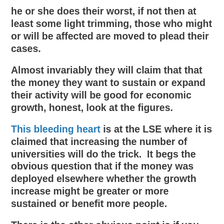he or she does their worst, if not then at least some light trimming, those who might or will be affected are moved to plead their cases.
Almost invariably they will claim that that the money they want to sustain or expand their activity will be good for economic growth, honest, look at the figures.
This bleeding heart is at the LSE where it is claimed that increasing the number of universities will do the trick.  It begs the obvious question that if the money was deployed elsewhere whether the growth increase might be greater or more sustained or benefit more people.
There is the other obvious point is if you corral more bodies into a sphere of activity that requires major outlays, public or private or both, high levels of staff ratio's and extensive buildings, takes people out of